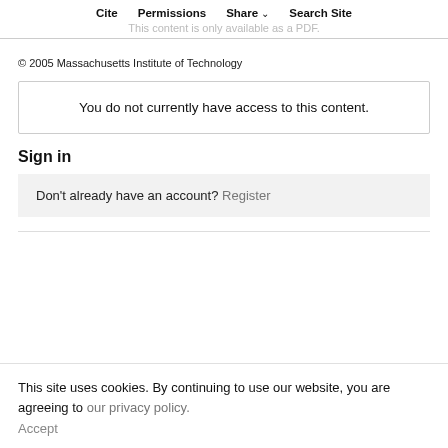Cite   Permissions   Share ∨   Search Site
This content is only available as a PDF.
© 2005 Massachusetts Institute of Technology
You do not currently have access to this content.
Sign in
Don't already have an account? Register
This site uses cookies. By continuing to use our website, you are agreeing to our privacy policy. Accept